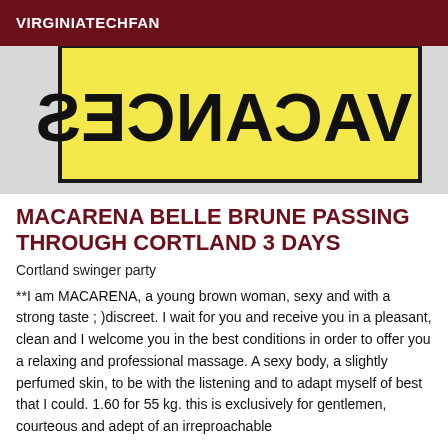VIRGINIATECHFAN
[Figure (illustration): Yellow sign with mirrored/backwards text reading VACANCES in black hand-drawn letters on a yellow background with a dark border.]
MACARENA BELLE BRUNE PASSING THROUGH CORTLAND 3 DAYS
Cortland swinger party
**I am MACARENA, a young brown woman, sexy and with a strong taste ; )discreet. I wait for you and receive you in a pleasant, clean and I welcome you in the best conditions in order to offer you a relaxing and professional massage. A sexy body, a slightly perfumed skin, to be with the listening and to adapt myself of best that I could. 1.60 for 55 kg. this is exclusively for gentlemen, courteous and adept of an irreproachable